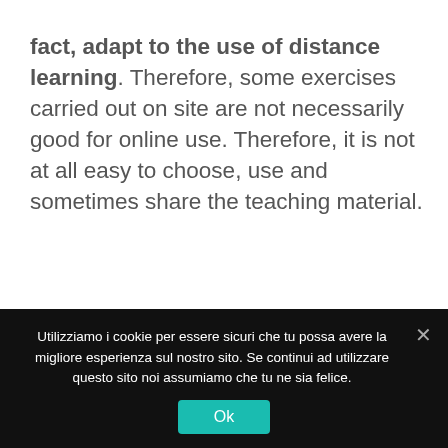fact, adapt to the use of distance learning. Therefore, some exercises carried out on site are not necessarily good for online use. Therefore, it is not at all easy to choose, use and sometimes share the teaching material.
Teaching Italian Online Can be a Viable Alternative
In conclusion, the period imposed a
Utilizziamo i cookie per essere sicuri che tu possa avere la migliore esperienza sul nostro sito. Se continui ad utilizzare questo sito noi assumiamo che tu ne sia felice.